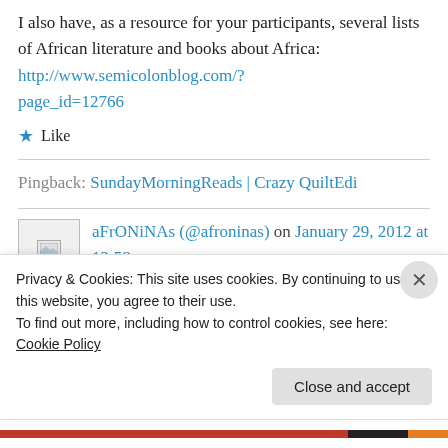I also have, as a resource for your participants, several lists of African literature and books about Africa: http://www.semicolonblog.com/?page_id=12766
★ Like
Pingback: SundayMorningReads | Crazy QuiltEdi
aFrONiNAs (@afroninas) on January 29, 2012 at 12:58 pm
Privacy & Cookies: This site uses cookies. By continuing to use this website, you agree to their use.
To find out more, including how to control cookies, see here: Cookie Policy
Close and accept